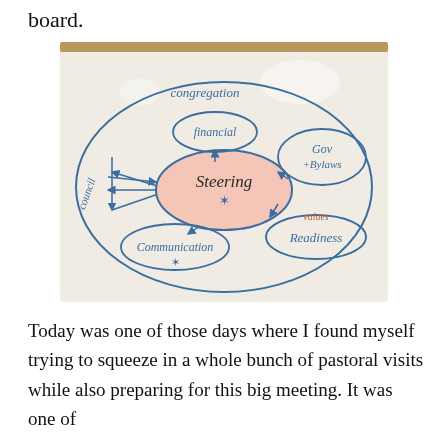board.
[Figure (photo): A whiteboard diagram showing 'Steering' in the center oval (with a star symbol), connected by arrows to surrounding labeled ovals: 'financial' (top center), 'Gov+Bylaws' (right), 'Readiness' (bottom right, with 'values' written above it in orange), 'Communication' (bottom left, with a star), and 'Council' (left side). A large outer oval labeled 'congregation' encompasses the whole diagram.]
Today was one of those days where I found myself trying to squeeze in a whole bunch of pastoral visits while also preparing for this big meeting. It was one of